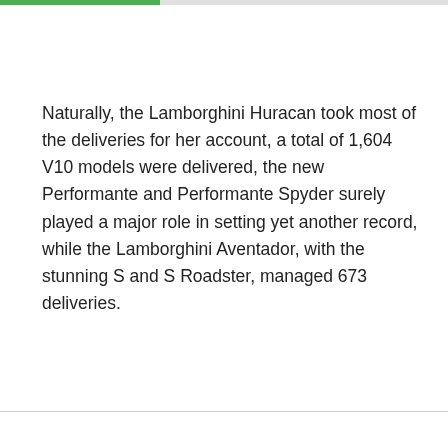Naturally, the Lamborghini Huracan took most of the deliveries for her account, a total of 1,604 V10 models were delivered, the new Performante and Performante Spyder surely played a major role in setting yet another record, while the Lamborghini Aventador, with the stunning S and S Roadster, managed 673 deliveries.